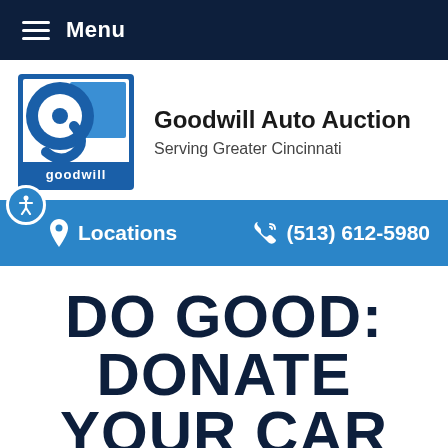Menu
[Figure (logo): Goodwill logo: stylized letter g with a blue square background and the word goodwill below]
Goodwill Auto Auction
Serving Greater Cincinnati
Locations   (513) 612-5980
DO GOOD: DONATE YOUR CAR TO GOODWILL!